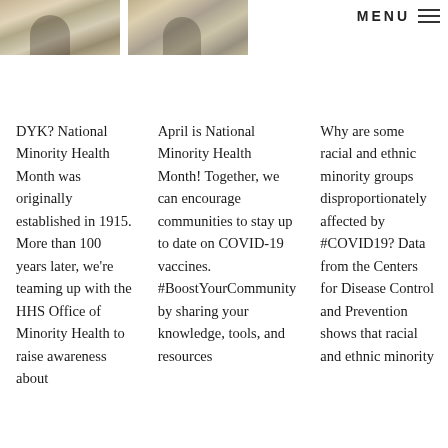MENU ☰
DYK? National Minority Health Month was originally established in 1915. More than 100 years later, we're teaming up with the HHS Office of Minority Health to raise awareness about
April is National Minority Health Month! Together, we can encourage communities to stay up to date on COVID-19 vaccines. #BoostYourCommunity by sharing your knowledge, tools, and resources
Why are some racial and ethnic minority groups disproportionately affected by #COVID19? Data from the Centers for Disease Control and Prevention shows that racial and ethnic minority